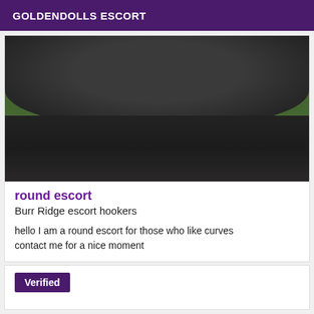GOLDENDOLLS ESCORT
[Figure (photo): Close-up photo of a person wearing a black top outdoors with green foliage in background]
round escort
Burr Ridge escort hookers
hello I am a round escort for those who like curves contact me for a nice moment
Verified